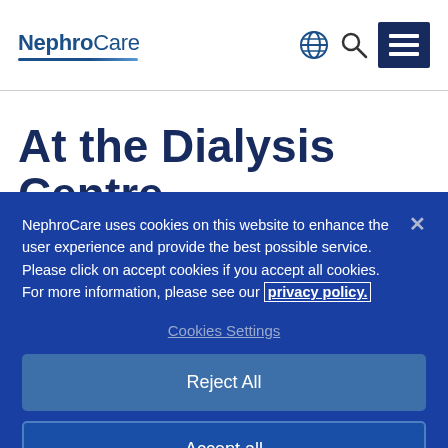[Figure (logo): NephroCare logo with blue text and underline, plus globe, search, and hamburger menu icons]
At the Dialysis Centre
NephroCare uses cookies on this website to enhance the user experience and provide the best possible service. Please click on accept cookies if you accept all cookies. For more information, please see our privacy policy.
Cookies Settings
Reject All
Accept all